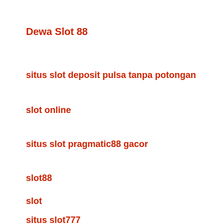Dewa Slot 88
situs slot deposit pulsa tanpa potongan
slot online
situs slot pragmatic88 gacor
slot88
slot
situs slot777